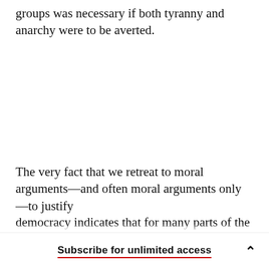groups was necessary if both tyranny and anarchy were to be averted.
The very fact that we retreat to moral arguments—and often moral arguments only—to justify democracy indicates that for many parts of the
Subscribe for unlimited access